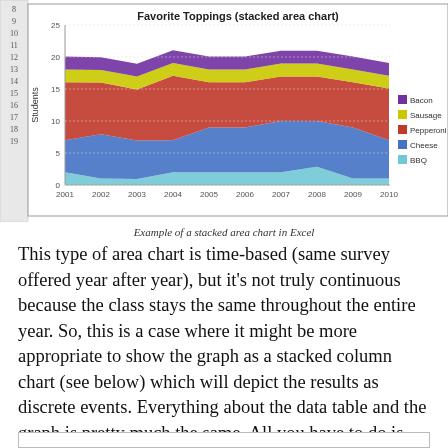[Figure (area-chart): Favorite Toppings (stacked area chart)]
Example of a stacked area chart in Excel
This type of area chart is time-based (same survey offered year after year), but it’s not truly continuous because the class stays the same throughout the entire year. So, this is a case where it might be more appropriate to show the graph as a stacked column chart (see below) which will depict the results as discrete events. Everything about the data table and the graph is pretty much the same. All you have to do is change the chart type.